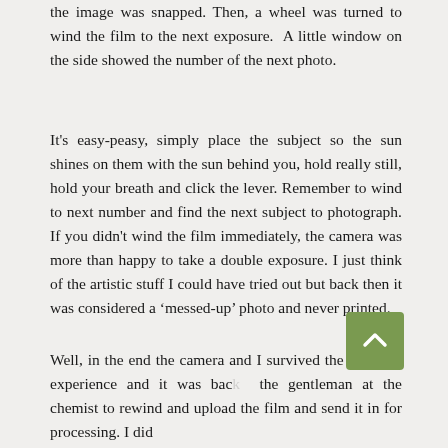the image was snapped. Then, a wheel was turned to wind the film to the next exposure. A little window on the side showed the number of the next photo.
It's easy-peasy, simply place the subject so the sun shines on them with the sun behind you, hold really still, hold your breath and click the lever. Remember to wind to next number and find the next subject to photograph. If you didn't wind the film immediately, the camera was more than happy to take a double exposure. I just think of the artistic stuff I could have tried out but back then it was considered a ‘messed-up’ photo and never printed.
Well, in the end the camera and I survived the camping experience and it was back the gentleman at the chemist to rewind and upload the film and send it in for processing. I did